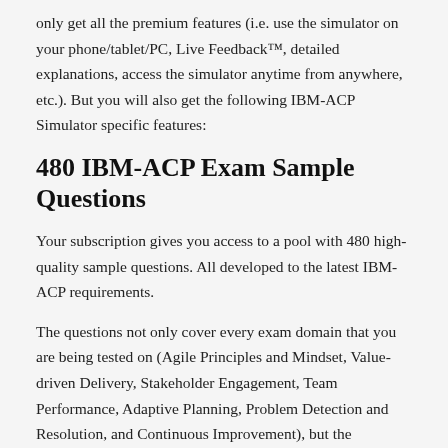only get all the premium features (i.e. use the simulator on your phone/tablet/PC, Live Feedback™, detailed explanations, access the simulator anytime from anywhere, etc.). But you will also get the following IBM-ACP Simulator specific features:
480 IBM-ACP Exam Sample Questions
Your subscription gives you access to a pool with 480 high-quality sample questions. All developed to the latest IBM-ACP requirements.
The questions not only cover every exam domain that you are being tested on (Agile Principles and Mindset, Value-driven Delivery, Stakeholder Engagement, Team Performance, Adaptive Planning, Problem Detection and Resolution, and Continuous Improvement), but the questions also cover the Tools & Techniques and Knowledge & Skills that you need to know in order to pass.
Four Complete Exams